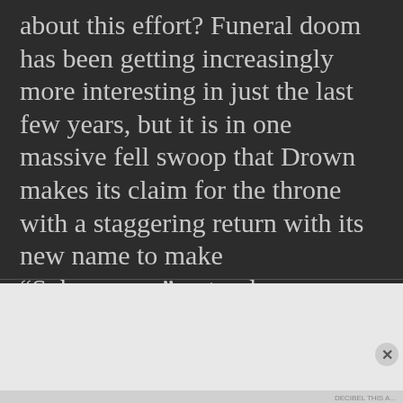about this effort? Funeral doom has been getting increasingly more interesting in just the last few years, but it is in one massive fell swoop that Drown makes its claim for the throne with a staggering return with its new name to make “Subaqueous” not only breathtakingly devastating but emotional and mesmerizing on a scale that one cannot get enough of!
[Figure (screenshot): Victoria's Secret advertisement banner with pink gradient background showing 'SHOP THE COLLECTION' text and 'SHOP NOW' button]
DECIBEL THIS A...